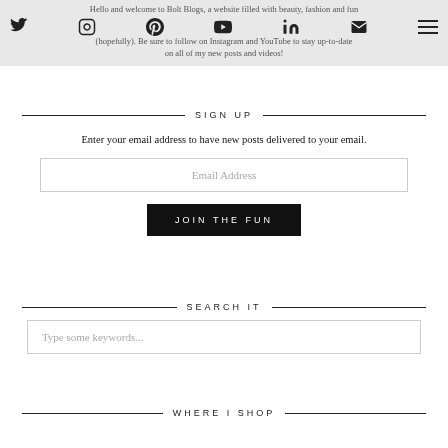Hello and welcome to Bolt Blogs, a website filled with beauty, fashion and fun (hopefully). Be sure to follow on Instagram and YouTube to stay up-to-date on all of my new posts and videos!
SIGN UP
Enter your email address to have new posts delivered to your email.
Email Address
JOIN THE FUN
SEARCH IT
Type some keywords...
WHERE I SHOP